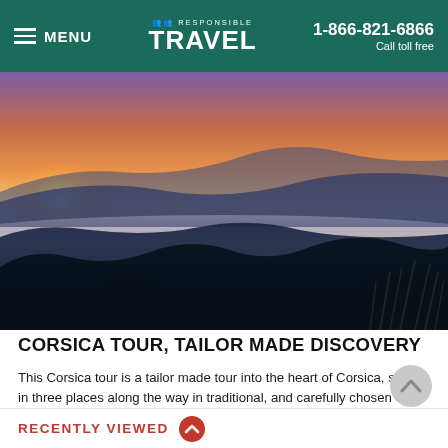≡ MENU | Responsible Travel | 1-866-821-6866 | Call toll free
[Figure (photo): Panoramic sunset view over mountains and sea near Corsica, with orange and purple sky reflecting on the water]
CORSICA TOUR, TAILOR MADE DISCOVERY
This Corsica tour is a tailor made tour into the heart of Corsica, staying in three places along the way in traditional, and carefully chosen guesthouses. Start by picking up a car rental at Bastia airport and then follow an itinerary that has been especially for you, taking all the planning out of an independent holiday on this idyllic Isle of Beauty, as it is often called. Some of the suggestions are in the itinerary below, with Corsica highlights including travelling from one stunning location to the next, exploring medieval citadels and sipping aperitifs in the ancient capital of
RECENTLY VIEWED